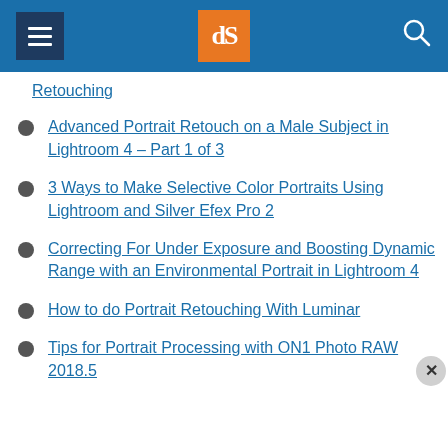dPS (Digital Photography School) navigation header
Retouching
Advanced Portrait Retouch on a Male Subject in Lightroom 4 – Part 1 of 3
3 Ways to Make Selective Color Portraits Using Lightroom and Silver Efex Pro 2
Correcting For Under Exposure and Boosting Dynamic Range with an Environmental Portrait in Lightroom 4
How to do Portrait Retouching With Luminar
Tips for Portrait Processing with ON1 Photo RAW 2018.5